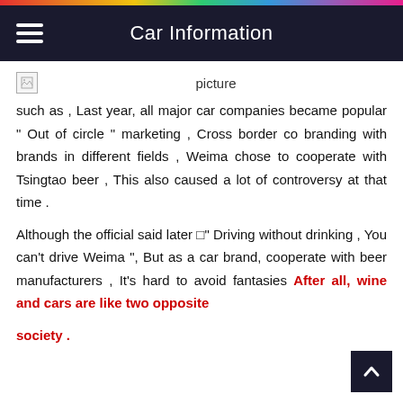Car Information
[Figure (photo): Broken image placeholder with alt text 'picture']
such as , Last year, all major car companies became popular " Out of circle " marketing , Cross border co branding with brands in different fields , Weima chose to cooperate with Tsingtao beer , This also caused a lot of controversy at that time .
Although the official said later □" Driving without drinking , You can't drive Weima ", But as a car brand, cooperate with beer manufacturers , It's hard to avoid fantasies After all, wine and cars are like two opposite society .